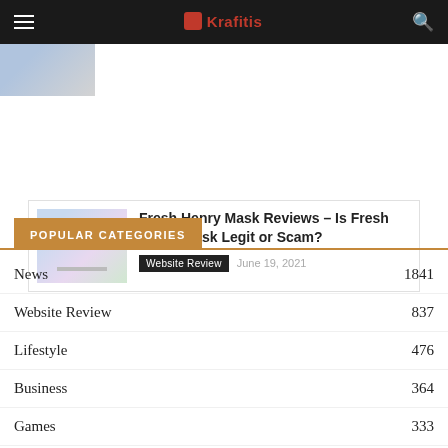Krafitis
[Figure (photo): Partial thumbnail image at top left]
Fresh Henry Mask Reviews – Is Fresh Henry Mask Legit or Scam?
Website Review   June 19, 2021
POPULAR CATEGORIES
News  1841
Website Review  837
Lifestyle  476
Business  364
Games  333
Health  310